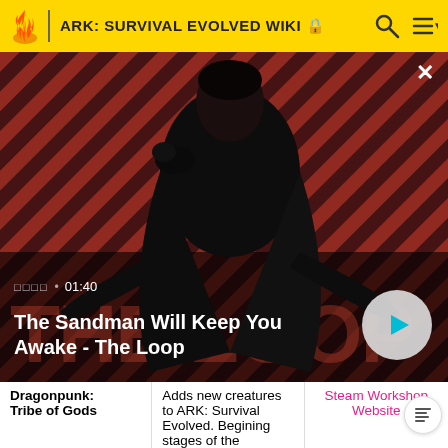ARK: SURVIVAL EVOLVED WIKI
[Figure (screenshot): Video thumbnail showing a dark figure with a raven on shoulder against a red and black diagonal striped background. Text overlay reads 'The Sandman Will Keep You Awake - The Loop' with duration '01:40'. A play button is visible on the right.]
|  |  |  |
| --- | --- | --- |
| Dragonpunk: Tribe of Gods | Adds new creatures to ARK: Survival Evolved. Begining stages of the Dragonpunk: | Steam Workshop Website |